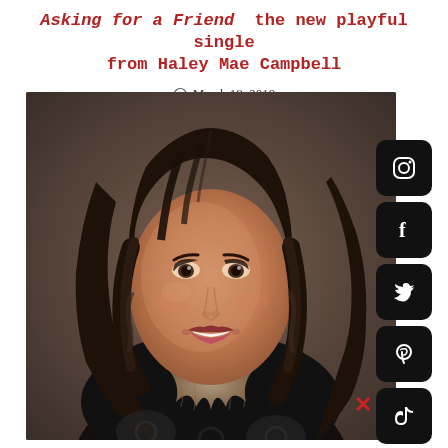Asking for a Friend  the new playful single from Haley Mae Campbell
March 18, 2019
[Figure (photo): Portrait photo of Haley Mae Campbell, a young woman with long dark wavy hair, smiling, wearing a dark lace/floral patterned top with a feathered scarf, photographed against a dark brown background.]